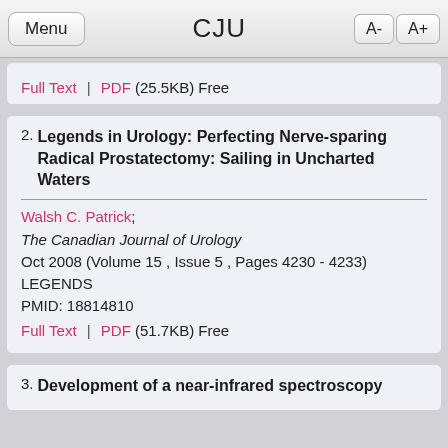Menu | CJU | A- A+
Full Text | PDF (25.5KB) Free
2. Legends in Urology: Perfecting Nerve-sparing Radical Prostatectomy: Sailing in Uncharted Waters
Walsh C. Patrick;
The Canadian Journal of Urology
Oct 2008 (Volume 15 , Issue 5 , Pages 4230 - 4233)
LEGENDS
PMID: 18814810
Full Text | PDF (51.7KB) Free
3. Development of a near-infrared spectroscopy